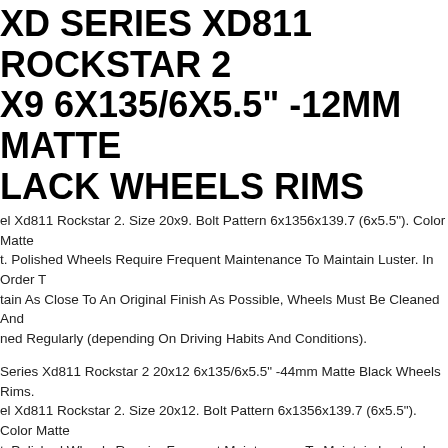XD SERIES XD811 ROCKSTAR 2 X9 6X135/6X5.5" -12MM MATTE LACK WHEELS RIMS
el Xd811 Rockstar 2. Size 20x9. Bolt Pattern 6x1356x139.7 (6x5.5"). Color Matte t. Polished Wheels Require Frequent Maintenance To Maintain Luster. In Order T tain As Close To An Original Finish As Possible, Wheels Must Be Cleaned And ned Regularly (depending On Driving Habits And Conditions).
Series Xd811 Rockstar 2 20x12 6x135/6x5.5" -44mm Matte Black Wheels Rims. el Xd811 Rockstar 2. Size 20x12. Bolt Pattern 6x1356x139.7 (6x5.5"). Color Matte t. Polished Wheels Require Frequent Maintenance To Maintain Luster. In Order T tain As Close To An Original Finish As Possible, Wheels Must Be Cleaned And ned Regularly (depending On Driving Habits And Conditions).
Series Xd811 Rockstar 2 20x9 6x135/6x5.5" +18mm Matte Black Wheels Rims. el Xd811 Rockstar 2. Size 20x9. Bolt Pattern 6x1356x139.7 (6x5.5"). Color Matte t. Polished Wheels Require Frequent Maintenance To Maintain Luster. In Order T tain As Close To An Original Finish As Possible, Wheels Must Be Cleaned And ned Regularly (depending On Driving Habits And Conditions).
INCH BLACK WHEELS RIMS XD RIES ROCKSTAR 2 XD827 20X10"